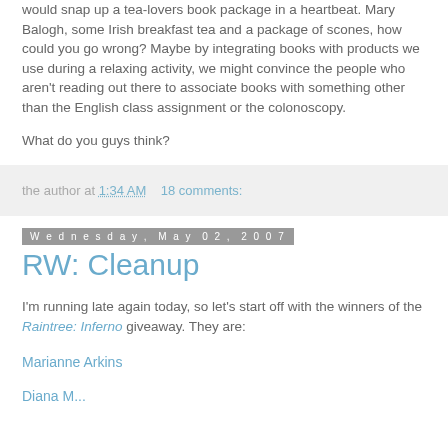would snap up a tea-lovers book package in a heartbeat. Mary Balogh, some Irish breakfast tea and a package of scones, how could you go wrong? Maybe by integrating books with products we use during a relaxing activity, we might convince the people who aren't reading out there to associate books with something other than the English class assignment or the colonoscopy.
What do you guys think?
the author at 1:34 AM   18 comments:
Wednesday, May 02, 2007
RW: Cleanup
I'm running late again today, so let's start off with the winners of the Raintree: Inferno giveaway. They are:
Marianne Arkins
Diana M...